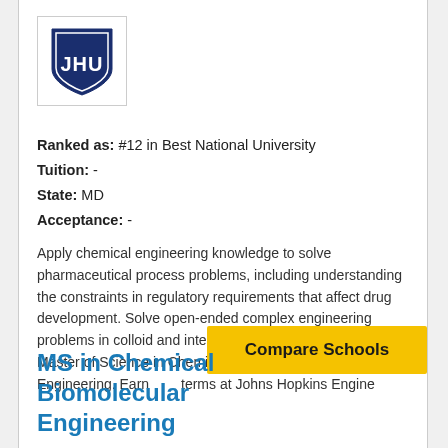[Figure (logo): JHU (Johns Hopkins University) shield logo in dark navy blue]
Ranked as: #12 in Best National University
Tuition: -
State: MD
Acceptance: -
Apply chemical engineering knowledge to solve pharmaceutical process problems, including understanding the constraints in regulatory requirements that affect drug development. Solve open-ended complex engineering problems in colloid and interfacial science. We offer a Master of Science in Chemical and Biomolecular Engineering. Earn... terms at Johns Hopkins Engine...
[Figure (other): Yellow button labeled 'Compare Schools']
MS in Chemical Biomolecular Engineering